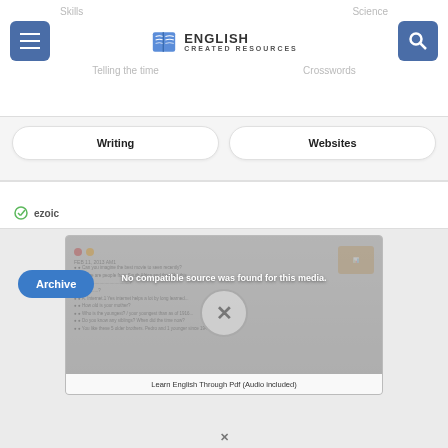English Created Resources
Skills
Science
Telling the time
Crosswords
Writing
Websites
[Figure (screenshot): Video player showing error message 'No compatible source was found for this media.' with an X close button overlaid on a screenshot of an English learning resource PDF page about listening comprehension.]
Learn English Through Pdf (Audio included)